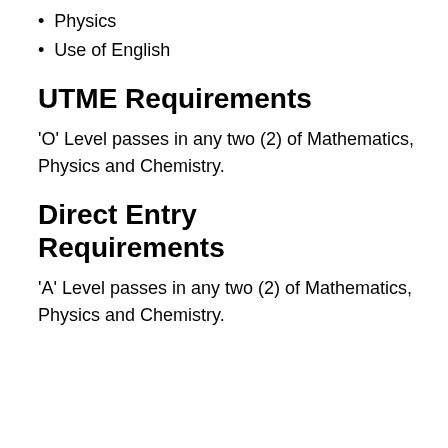Physics
Use of English
UTME Requirements
‘O’ Level passes in any two (2) of Mathematics, Physics and Chemistry.
Direct Entry Requirements
‘A’ Level passes in any two (2) of Mathematics, Physics and Chemistry.